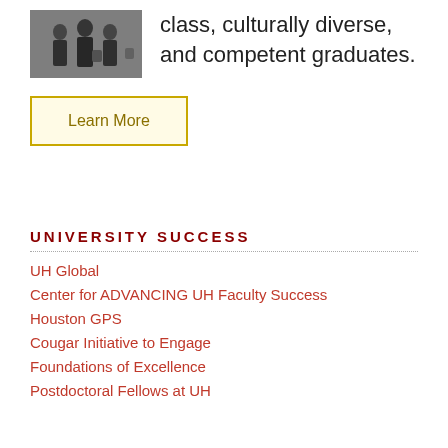[Figure (photo): Group of graduates in dark clothing]
class, culturally diverse, and competent graduates.
Learn More
UNIVERSITY SUCCESS
UH Global
Center for ADVANCING UH Faculty Success
Houston GPS
Cougar Initiative to Engage
Foundations of Excellence
Postdoctoral Fellows at UH